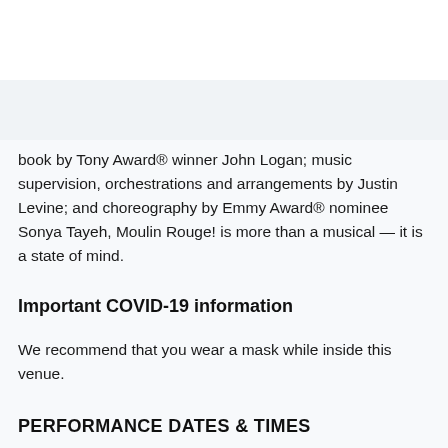book by Tony Award® winner John Logan; music supervision, orchestrations and arrangements by Justin Levine; and choreography by Emmy Award® nominee Sonya Tayeh, Moulin Rouge! is more than a musical — it is a state of mind.
Important COVID-19 information
We recommend that you wear a mask while inside this venue.
PERFORMANCE DATES & TIMES